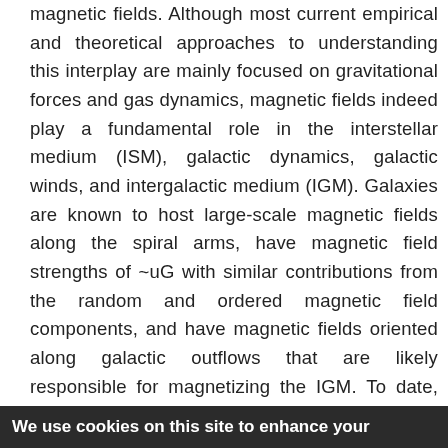magnetic fields. Although most current empirical and theoretical approaches to understanding this interplay are mainly focused on gravitational forces and gas dynamics, magnetic fields indeed play a fundamental role in the interstellar medium (ISM), galactic dynamics, galactic winds, and intergalactic medium (IGM). Galaxies are known to host large-scale magnetic fields along the spiral arms, have magnetic field strengths of ~uG with similar contributions from the random and ordered magnetic field components, and have magnetic fields oriented along galactic outflows that are likely responsible for magnetizing the IGM. To date, these results have mostly emerged from single wavelength regimes: radio synchrotron polarization tracing the magnetic field structure in the ionized gas, and optical studies
We use cookies on this site to enhance your